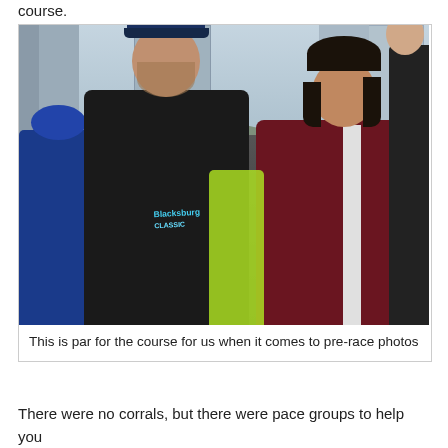course.
[Figure (photo): Two people posing for a pre-race photo in a crowd of runners at what appears to be a marathon start area. A man in a black Blacksburg Classic shirt and blue cap stands next to a woman in a maroon jacket. A pace group sign is visible in the background reading 'Full 4:30 Hour Half 2:15 Hour Pace Group'. City buildings visible in background.]
This is par for the course for us when it comes to pre-race photos
There were no corrals, but there were pace groups to help you fo...